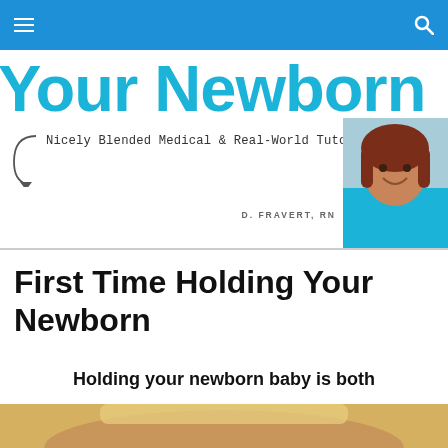Your Newborn (navigation bar with hamburger menu and search icon)
[Figure (screenshot): Website header banner showing 'Your Newborn' site title in large cyan text, partially cropped]
[Figure (illustration): Header banner with curved arrow, tagline 'Nicely Blended Medical & Real-World Tutorials', author credit D. FRAVERT, RN, and photo of a woman with auburn hair wearing a teal top]
First Time Holding Your Newborn
Holding your newborn baby is both exciting and scary.
[Figure (photo): Partial photo of a woman with blonde hair at bottom of page]